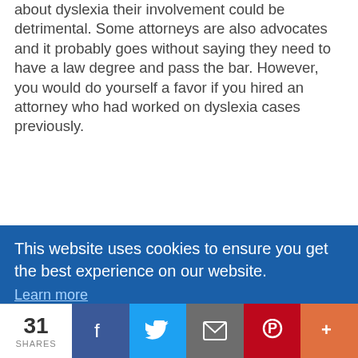about dyslexia their involvement could be detrimental. Some attorneys are also advocates and it probably goes without saying they need to have a law degree and pass the bar. However, you would do yourself a favor if you hired an attorney who had worked on dyslexia cases previously.
Do schools have an obligation to provide and pay for an advocate?
Nope. No way, no how. They do have to pay attorneys' fees if your case gets to that point. Some school districts do have "parent
This website uses cookies to ensure you get the best experience on our website.
Learn more
Got it!
31 SHARES